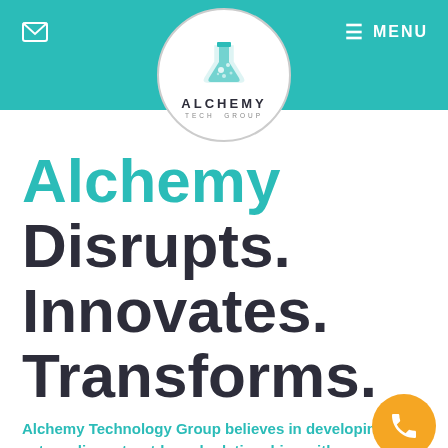Alchemy Tech Group website header with logo, email icon, and menu
[Figure (logo): Alchemy Tech Group logo: flask/beaker icon with bubbles in a white circle, text ALCHEMY TECH GROUP below]
Alchemy Disrupts. Innovates. Transforms.
Alchemy Technology Group believes in developing extraordinary trust-based relationships with our customers and partners to create transformative business outcomes.
No matter the industry, no matter the need, our collaborative